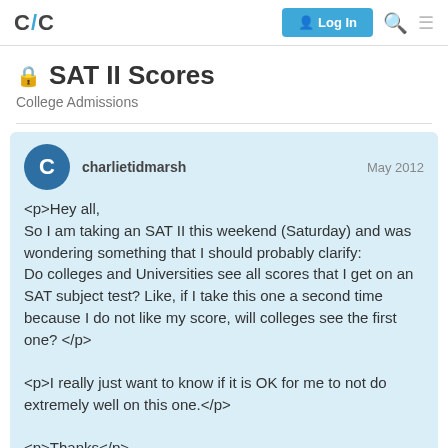C/C | Log In
SAT II Scores
College Admissions
charlietidmarsh  May 2012
<p>Hey all,
So I am taking an SAT II this weekend (Saturday) and was wondering something that I should probably clarify:
Do colleges and Universities see all scores that I get on an SAT subject test? Like, if I take this one a second time because I do not like my score, will colleges see the first one? </p>

<p>I really just want to know if it is OK for me to not do extremely well on this one.</p>

<p>Thanks</p>
1 / 4